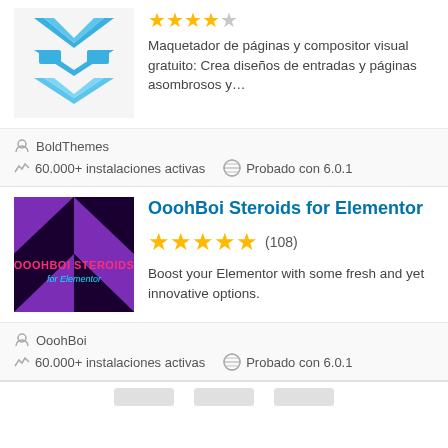[Figure (logo): Blue geometric chevron/arrow logo for a page builder plugin]
Maquetador de páginas y compositor visual gratuito: Crea diseños de entradas y páginas asombrosos y...
BoldThemes
60.000+ instalaciones activas
Probado con 6.0.1
OoohBoi Steroids for Elementor
[Figure (logo): OoohBoi Steroids for Elementor plugin logo with black and purple geometric triangles and pink/cyan text]
(108)
Boost your Elementor with some fresh and yet innovative options.
OoohBoi
60.000+ instalaciones activas
Probado con 6.0.1